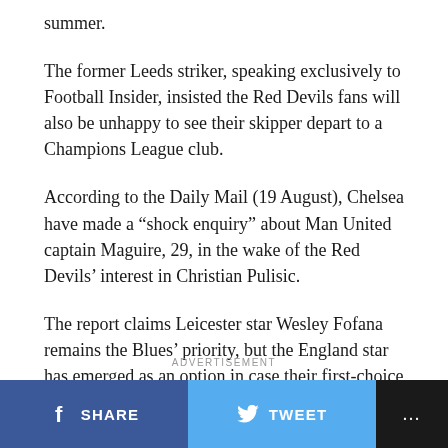summer.
The former Leeds striker, speaking exclusively to Football Insider, insisted the Red Devils fans will also be unhappy to see their skipper depart to a Champions League club.
According to the Daily Mail (19 August), Chelsea have made a “shock enquiry” about Man United captain Maguire, 29, in the wake of the Red Devils’ interest in Christian Pulisic.
The report claims Leicester star Wesley Fofana remains the Blues’ priority, but the England star has emerged as an option in case their first-choice deal collapses.
ADVERTISEMENT
SHARE   TWEET   ...